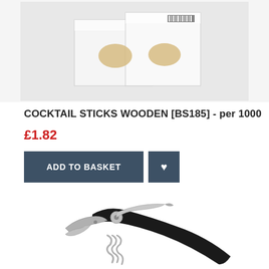[Figure (photo): Photo of white product boxes (cocktail sticks packaging) with barcode labels, stacked on a light background.]
COCKTAIL STICKS WOODEN [BS185] - per 1000
£1.82
[Figure (photo): Photo of a sommelier corkscrew / waiter's friend wine opener with a black handle, silver metallic blade and screw, displayed diagonally on white background.]